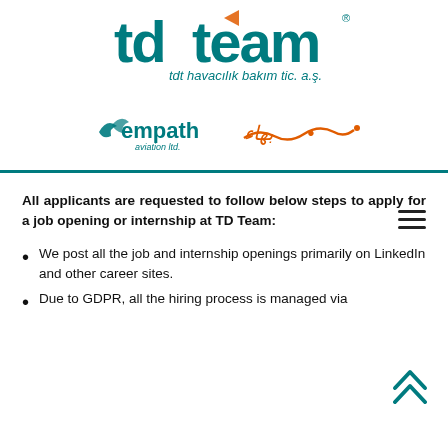[Figure (logo): TD Team logo - tdt havacılık bakım tic. a.ş. company logo in teal/green color]
[Figure (logo): Empath Aviation Ltd logo in teal color with bird motif]
[Figure (logo): Arabic/decorative text logo in orange color]
All applicants are requested to follow below steps to apply for a job opening or internship at TD Team:
We post all the job and internship openings primarily on LinkedIn and other career sites.
Due to GDPR, all the hiring process is managed via